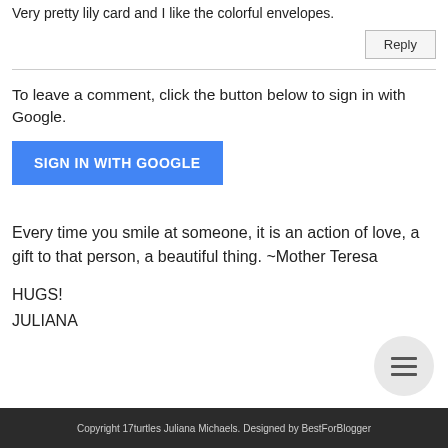Very pretty lily card and I like the colorful envelopes.
Reply
To leave a comment, click the button below to sign in with Google.
SIGN IN WITH GOOGLE
Every time you smile at someone, it is an action of love, a gift to that person, a beautiful thing. ~Mother Teresa
HUGS!
JULIANA
[Figure (other): Hamburger menu button as a gray circle with three horizontal lines]
Copyright 17turtles Juliana Michaels. Designed by BestForBlogger